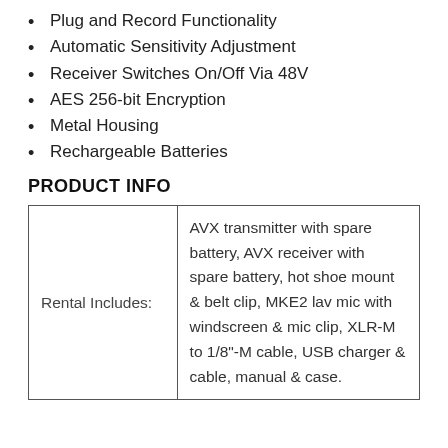Plug and Record Functionality
Automatic Sensitivity Adjustment
Receiver Switches On/Off Via 48V
AES 256-bit Encryption
Metal Housing
Rechargeable Batteries
PRODUCT INFO
| Rental Includes: | AVX transmitter with spare battery, AVX receiver with spare battery, hot shoe mount & belt clip, MKE2 lav mic with windscreen & mic clip, XLR-M to 1/8"-M cable, USB charger & cable, manual & case. |